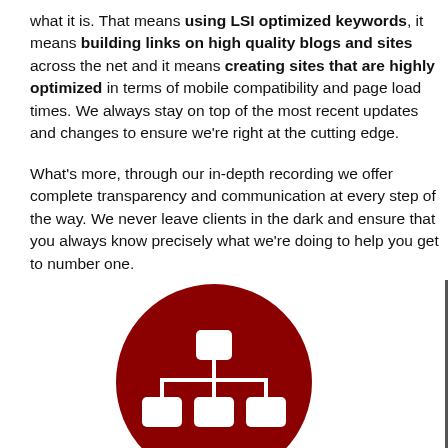what it is. That means using LSI optimized keywords, it means building links on high quality blogs and sites across the net and it means creating sites that are highly optimized in terms of mobile compatibility and page load times. We always stay on top of the most recent updates and changes to ensure we're right at the cutting edge.

What's more, through our in-depth recording we offer complete transparency and communication at every step of the way. We never leave clients in the dark and ensure that you always know precisely what we're doing to help you get to number one.
[Figure (illustration): Dark red circle containing a white network/hierarchy diagram icon showing a top node connected to three nodes below]